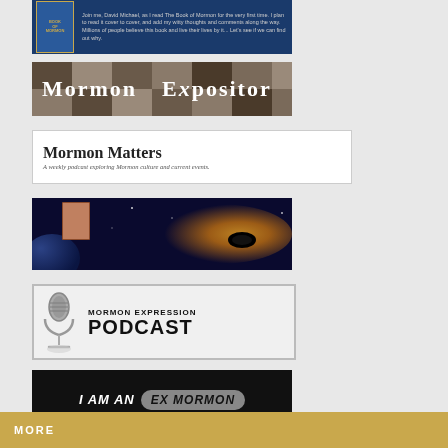[Figure (illustration): Book of Mormon banner with dark blue background, showing a book icon on the left and small white text on the right describing reading the Book of Mormon for the first time]
[Figure (illustration): Mormon Expositor banner with textured/collage background and stylized text reading 'Mormon Expositor']
[Figure (illustration): Mormon Matters banner with white background showing 'Mormon Matters' in large serif font and subtitle 'A weekly podcast exploring Mormon culture and current events']
[Figure (illustration): Space/galaxy themed banner with dark background, glowing orange star, galaxy spiral, and a small portrait image on the left]
[Figure (illustration): Mormon Expression Podcast banner with light gray background, microphone icon on left, and text 'MORMON EXPRESSION PODCAST' on right]
[Figure (illustration): I Am An Ex Mormon banner with black background, white italic text 'I AM AN', gray rounded rectangle with 'EX MORMON', and italic subtitle 'a new weekly video series']
MORE